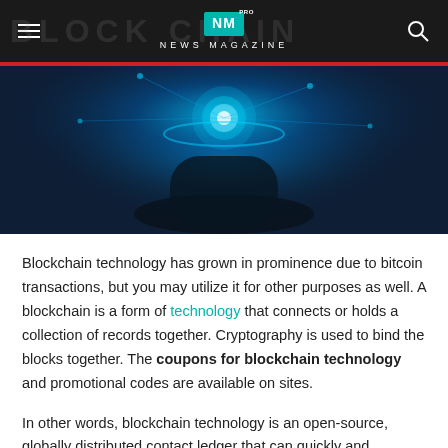NM PRO NEWS MAGAZINE
[Figure (photo): A person in a suit holding a glowing blue holographic sphere above their open hand, with digital network patterns in the background]
Blockchain technology has grown in prominence due to bitcoin transactions, but you may utilize it for other purposes as well. A blockchain is a form of technology that connects or holds a collection of records together. Cryptography is used to bind the blocks together. The coupons for blockchain technology and promotional codes are available on sites.
In other words, blockchain technology is an open-source, globally distributed contact ledger that can quickly and verifiably